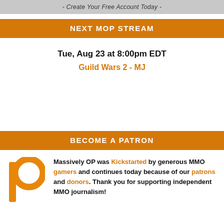- Create Your Free Account Today -
NEXT MOP STREAM
Tue, Aug 23 at 8:00pm EDT
Guild Wars 2 - MJ
BECOME A PATRON
[Figure (logo): Patreon logo in orange]
Massively OP was Kickstarted by generous MMO gamers and continues today because of our patrons and donors. Thank you for supporting independent MMO journalism!